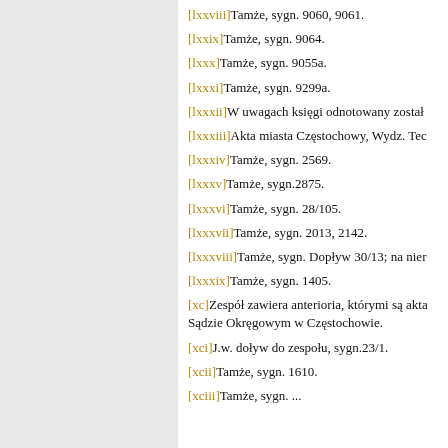[lxxviii]Tamże, sygn. 9060, 9061.
[lxxix]Tamże, sygn. 9064.
[lxxx]Tamże, sygn. 9055a.
[lxxxi]Tamże, sygn. 9299a.
[lxxxii]W uwagach księgi odnotowany został
[lxxxiii]Akta miasta Częstochowy, Wydz. Tec
[lxxxiv]Tamże, sygn. 2569.
[lxxxv]Tamże, sygn.2875.
[lxxxvi]Tamże, sygn. 28/105.
[lxxxvii]Tamże, sygn. 2013, 2142.
[lxxxviii]Tamże, sygn. Dopływ 30/13; na nier
[lxxxix]Tamże, sygn. 1405.
[xc]Zespół zawiera anterioria, którymi są akta Sądzie Okręgowym w Częstochowie.
[xci]J.w. doływ do zespołu, sygn.23/1.
[xcii]Tamże, sygn. 1610.
[xciii]Tamże, sygn. ...